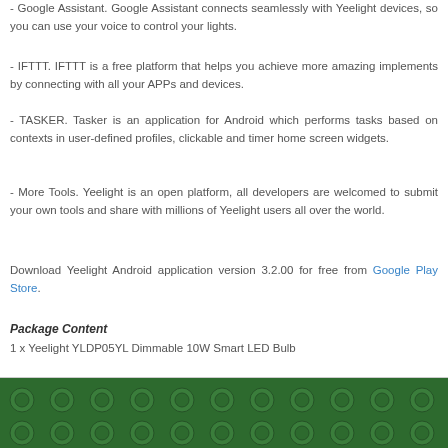- Google Assistant. Google Assistant connects seamlessly with Yeelight devices, so you can use your voice to control your lights.
- IFTTT. IFTTT is a free platform that helps you achieve more amazing implements by connecting with all your APPs and devices.
- TASKER. Tasker is an application for Android which performs tasks based on contexts in user-defined profiles, clickable and timer home screen widgets.
- More Tools. Yeelight is an open platform, all developers are welcomed to submit your own tools and share with millions of Yeelight users all over the world.
Download Yeelight Android application version 3.2.00 for free from Google Play Store.
Package Content
1 x Yeelight YLDP05YL Dimmable 10W Smart LED Bulb
[Figure (photo): Green Lego brick strip at the bottom of the page]